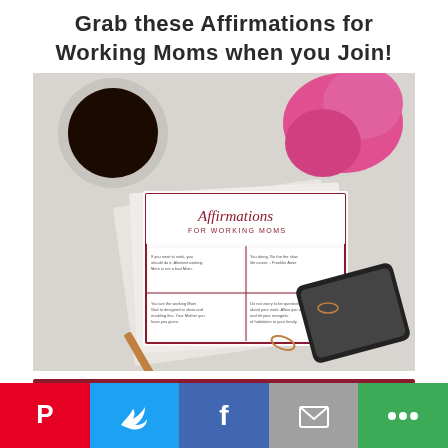Grab these Affirmations for Working Moms when you Join!
[Figure (photo): Photo of Affirmations for Working Moms printable cards laid on a marble desk with a cup of coffee, pink roses, a smartphone, pencil, and paper clips]
[Figure (other): Dark red/maroon horizontal input/button bar]
[Figure (infographic): Social share bar with Pinterest (red), Twitter (blue), Facebook (dark blue), Email (gray), and More (green) buttons]